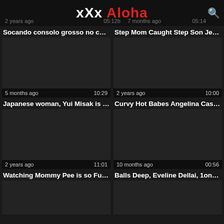xXx Aloha
2 years ago   05:12b   7 months ago   05:14
Socando consolo grosso no cuzin...
Step Mom Caught Step Son Jerkin...
[Figure (screenshot): Video thumbnail dark placeholder, 5 months ago, 10:29]
[Figure (screenshot): Video thumbnail dark placeholder, 2 years ago, 10:00]
Japanese woman, Yui Misak is suc...
Curvy Hot Babes Angelina Castro ...
[Figure (screenshot): Video thumbnail dark placeholder, 2 years ago, 11:01]
[Figure (screenshot): Video thumbnail dark placeholder, 10 months ago, 00:56]
Watching Mommy Pee is so Fuckin...
Balls Deep, Eveline Dellai, 1on1, B...
[Figure (screenshot): Video thumbnail dark placeholder partial]
[Figure (screenshot): Video thumbnail dark placeholder partial]